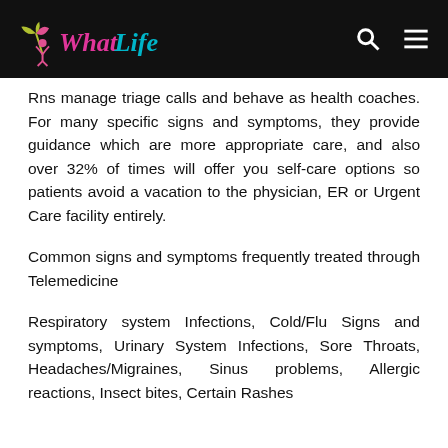WhatLife
Rns manage triage calls and behave as health coaches. For many specific signs and symptoms, they provide guidance which are more appropriate care, and also over 32% of times will offer you self-care options so patients avoid a vacation to the physician, ER or Urgent Care facility entirely.
Common signs and symptoms frequently treated through Telemedicine
Respiratory system Infections, Cold/Flu Signs and symptoms, Urinary System Infections, Sore Throats, Headaches/Migraines, Sinus problems, Allergic reactions, Insect bites, Certain Rashes